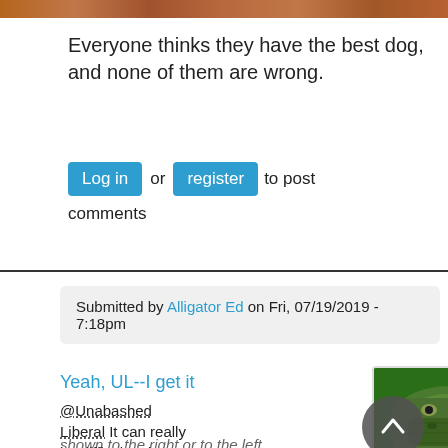[Figure (photo): Top strip showing brick/tile texture in brown and tan tones]
Everyone thinks they have the best dog, and none of them are wrong.
Log in or register to post comments
Submitted by Alligator Ed on Fri, 07/19/2019 - 7:18pm
Yeah, UL--I get it
@Unabashed Liberal It can really be difficult to know if the alligator shown to the right or to the left
[Figure (photo): Close-up photo of an alligator's scaly head/snout, green and grey tones]